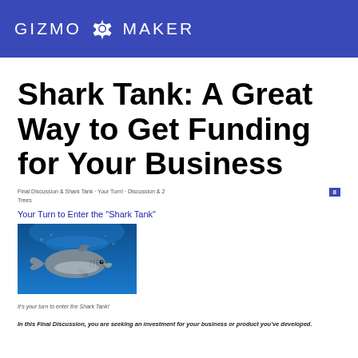GIZMO G MAKER
Shark Tank: A Great Way to Get Funding for Your Business
Final Discussion & Shark Tank · Your Turn! · Discussion & 2 Trees
Your Turn to Enter the "Shark Tank"
[Figure (photo): Underwater photo of a shark swimming, blue water background]
It's your turn to enter the Shark Tank!
In this Final Discussion, you are seeking an investment for your business or product you've developed.